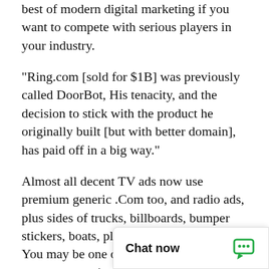best of modern digital marketing if you want to compete with serious players in your industry.
"Ring.com [sold for $1B] was previously called DoorBot, His tenacity, and the decision to stick with the product he originally built [but with better domain], has paid off in a big way."
Almost all decent TV ads now use premium generic .Com too, and radio ads, plus sides of trucks, billboards, bumper stickers, boats, planes, tshirts, blogs, etc. You may be one of these 'Fortune 500' mega corporations ready to dominate the world, or just a regular granny in your underwear, but either way you can look the same with MilitaryVeterans.com.
DomainMarket.com is the only authorized pricing agent for this domain party seller. Every do
Chat now